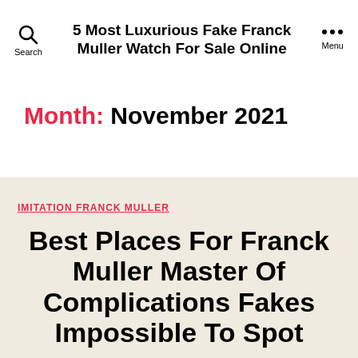5 Most Luxurious Fake Franck Muller Watch For Sale Online
Month: November 2021
IMITATION FRANCK MULLER
Best Places For Franck Muller Master Of Complications Fakes Impossible To Spot
By admin  November 24, 2021